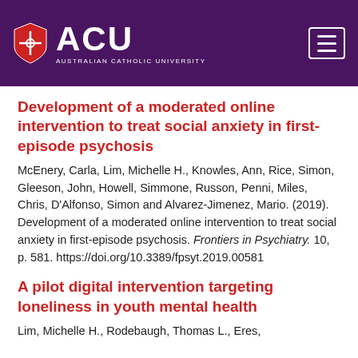[Figure (logo): ACU Australian Catholic University logo with shield emblem on dark purple header background, with hamburger menu icon on the right]
Development of a moderated online intervention to treat social anxiety in first-episode psychosis
McEnery, Carla, Lim, Michelle H., Knowles, Ann, Rice, Simon, Gleeson, John, Howell, Simmone, Russon, Penni, Miles, Chris, D'Alfonso, Simon and Alvarez-Jimenez, Mario. (2019). Development of a moderated online intervention to treat social anxiety in first-episode psychosis. Frontiers in Psychiatry. 10, p. 581. https://doi.org/10.3389/fpsyt.2019.00581
A pilot digital intervention targeting loneliness in youth mental health
Lim, Michelle H., Rodebaugh, Thomas L., Eres,